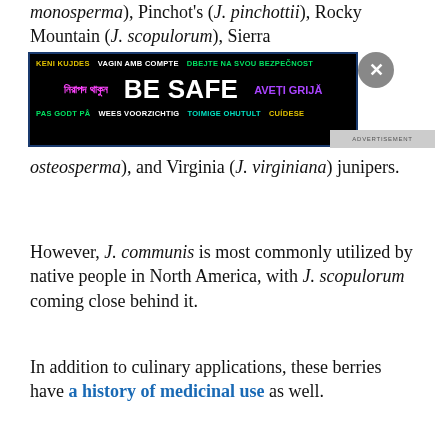monosperma), Pinchot's (J. pinchottii), Rocky Mountain (J. scopulorum), Sierra ... osteosperma), and Virginia (J. virginiana) junipers.
[Figure (other): BE SAFE multilingual advertisement banner with dark background. Text in multiple languages: KENI KUJDES, VAGIN AMB COMPTE, DBEJTE NA SVOU BEZPEČNOST, নিরাপদ থাকুন, BE SAFE, AVEȚI GRIJĂ, PAS GODT PÅ, WEES VOORZICHTIG, TOIMIGE OHUTULT, CUÍDESE. Advertisement label visible on right side.]
However, J. communis is most commonly utilized by native people in North America, with J. scopulorum coming close behind it.
In addition to culinary applications, these berries have a history of medicinal use as well.